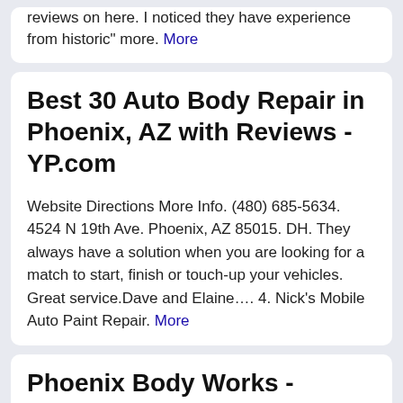reviews on here. I noticed they have experience from historic" more. More
Best 30 Auto Body Repair in Phoenix, AZ with Reviews - YP.com
Website Directions More Info. (480) 685-5634. 4524 N 19th Ave. Phoenix, AZ 85015. DH. They always have a solution when you are looking for a match to start, finish or touch-up your vehicles. Great service.Dave and Elaine…. 4. Nick's Mobile Auto Paint Repair. More
Phoenix Body Works - Certified Collision Repair